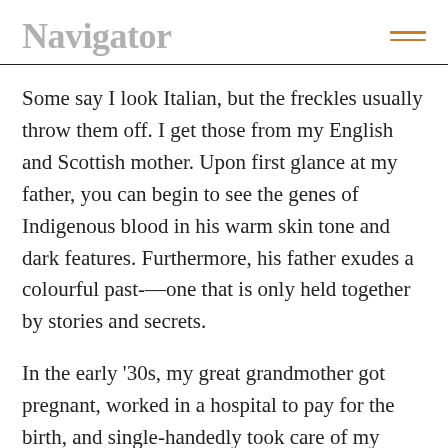Navigator
Some say I look Italian, but the freckles usually throw them off. I get those from my English and Scottish mother. Upon first glance at my father, you can begin to see the genes of Indigenous blood in his warm skin tone and dark features. Furthermore, his father exudes a colourful past-—one that is only held together by stories and secrets.
In the early '30s, my great grandmother got pregnant, worked in a hospital to pay for the birth, and single-handedly took care of my grandfather, Raymond—until she met Isaac